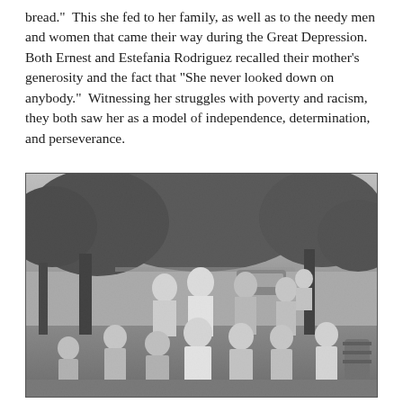bread.”  This she fed to her family, as well as to the needy men and women that came their way during the Great Depression.  Both Ernest and Estefania Rodriguez recalled their mother’s generosity and the fact that “She never looked down on anybody.”  Witnessing her struggles with poverty and racism, they both saw her as a model of independence, determination, and perseverance.
[Figure (photo): Black and white photograph of a group of children and young adults gathered outdoors under trees. The group consists of roughly 15 people of various ages, posing together informally. Some are smiling at the camera. There is a barrel visible on the right side and a car partially visible in the background.]